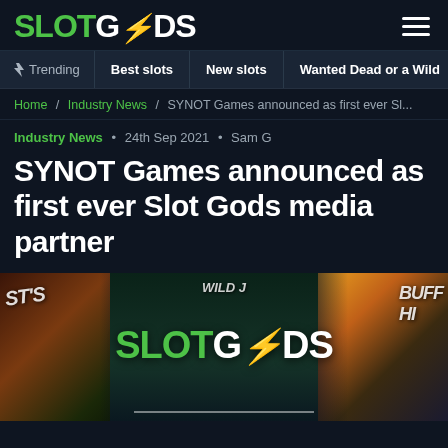SLOTGODS
Trending • Best slots • New slots • Wanted Dead or a Wild
Home / Industry News / SYNOT Games announced as first ever Sl...
Industry News • 24th Sep 2021 • Sam G
SYNOT Games announced as first ever Slot Gods media partner
[Figure (screenshot): Hero banner image showing multiple slot game artwork panels with SLOTGODS logo centered over them. Slot game images include Wild Junction and Buffalo Hunt visible on sides.]